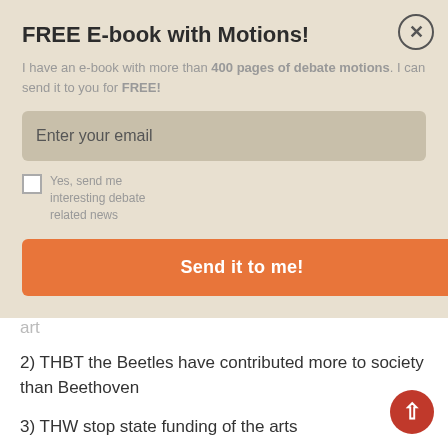FREE E-book with Motions!
I have an e-book with more than 400 pages of debate motions. I can send it to you for FREE!
Enter your email
Yes, send me interesting debate related news
Send it to me!
art
2) THBT the Beetles have contributed more to society than Beethoven
3) THW stop state funding of the arts
Round 5
THW stop public funding of space exploration
Round 6
THBT war causes more problems than it solves